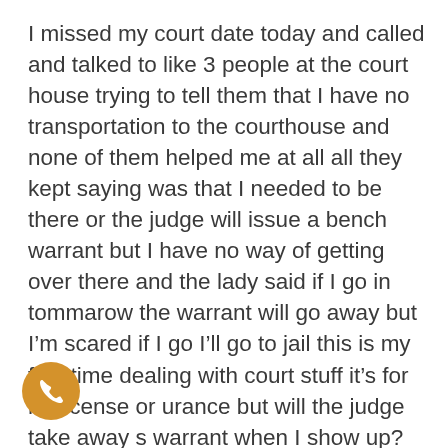I missed my court date today and called and talked to like 3 people at the court house trying to tell them that I have no transportation to the courthouse and none of them helped me at all all they kept saying was that I needed to be there or the judge will issue a bench warrant but I have no way of getting over there and the lady said if I go in tommarow the warrant will go away but I'm scared if I go I'll go to jail this is my first time dealing with court stuff it's for no license or insurance but will the judge take away the warrant when I show up?